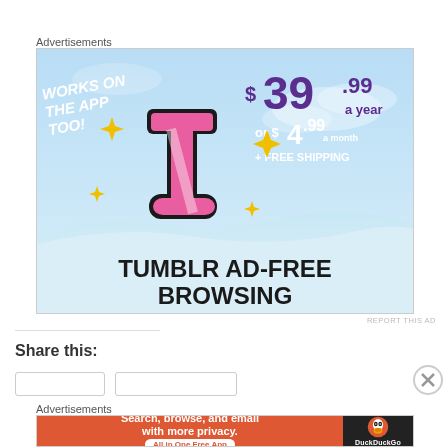Advertisements
[Figure (illustration): Tumblr Ad-Free Browsing advertisement showing the Tumblr 't' logo with sparkles on a light blue sky background. Text reads: WORKS ON THE APP TOO!, $39.99 a year or $4.99 a month + FREE SHIPPING, TUMBLR AD-FREE BROWSING]
REPORT THIS AD
Share this:
Advertisements
[Figure (illustration): DuckDuckGo advertisement: Search, browse, and email with more privacy. All in One Free App. Orange background with DuckDuckGo logo on dark right panel.]